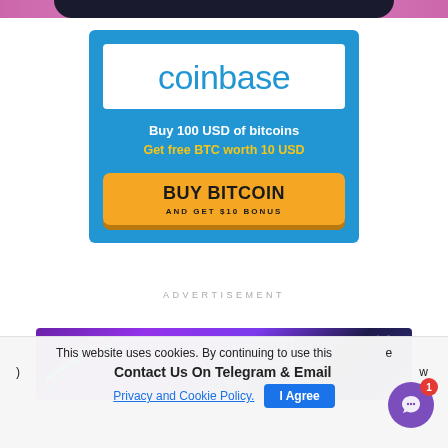[Figure (screenshot): Top partial banner with dark arc shape on purple/pink gradient background]
[Figure (infographic): Coinbase advertisement banner on blue background. White logo box with 'coinbase' in blue text. Text: 'Buy 100 USD of bitcoins', 'Get free BTC worth 10 USD'. Yellow button: 'BUY BITCOIN AND GET $10 BONUS']
ADVERTISEMENT
[Figure (screenshot): Partial banner at bottom with purple/violet gradient background, neon colored diagonal lines on left, firework sparkle graphic in center, binary code digits on right]
This website uses cookies. By continuing to use this website you agree to our
Contact Us On Telegram & Email
Privacy and Cookie Policy.
I Agree